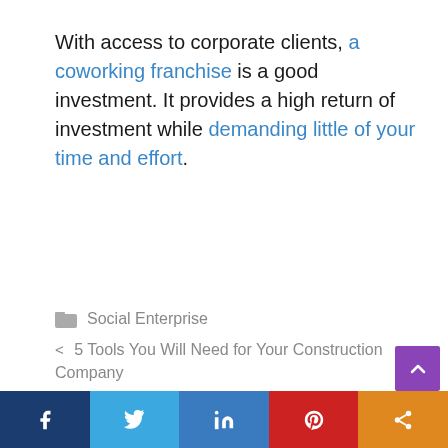With access to corporate clients, a coworking franchise is a good investment. It provides a high return of investment while demanding little of your time and effort.
Social Enterprise
< 5 Tools You Will Need for Your Construction Company
> Four Obvious Signs Your Debt Will Turn Into a Crisis